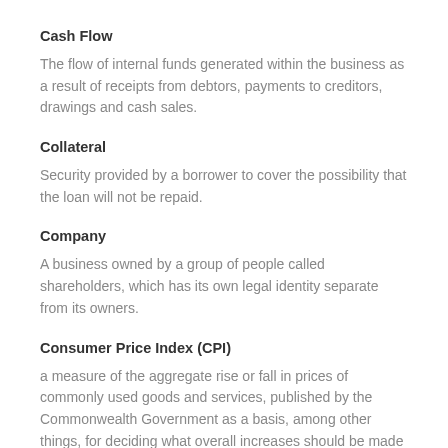Cash Flow
The flow of internal funds generated within the business as a result of receipts from debtors, payments to creditors, drawings and cash sales.
Collateral
Security provided by a borrower to cover the possibility that the loan will not be repaid.
Company
A business owned by a group of people called shareholders, which has its own legal identity separate from its owners.
Consumer Price Index (CPI)
a measure of the aggregate rise or fall in prices of commonly used goods and services, published by the Commonwealth Government as a basis, among other things, for deciding what overall increases should be made to wages and